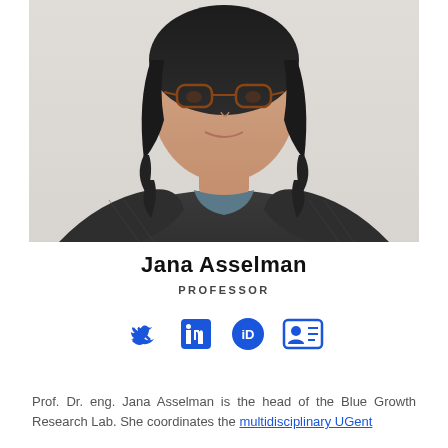[Figure (photo): Professional headshot of Jana Asselman, a woman with dark wavy hair wearing a dark striped jacket and a patterned top. The photo shows her from the shoulders up against a light background.]
Jana Asselman
PROFESSOR
[Figure (infographic): Social media and profile icons: Twitter bird icon, LinkedIn 'in' icon, ORCID iD icon, and a profile/contact card icon, all in blue.]
Prof. Dr. eng. Jana Asselman is the head of the Blue Growth Research Lab. She coordinates the multidisciplinary UGent